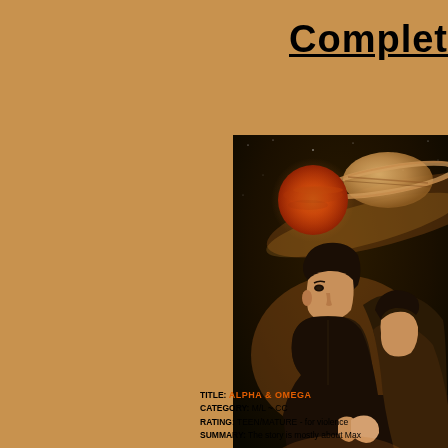Complete
[Figure (photo): Two people (a young man and woman) close together in a romantic pose against a space background with a large red planet and Saturn-like planet visible]
TITLE: ALPHA & OMEGA
CATEGORY: M/L ~ CC
RATING: TEEN/MATURE - for violence
SUMMARY: The story is mostly about Max